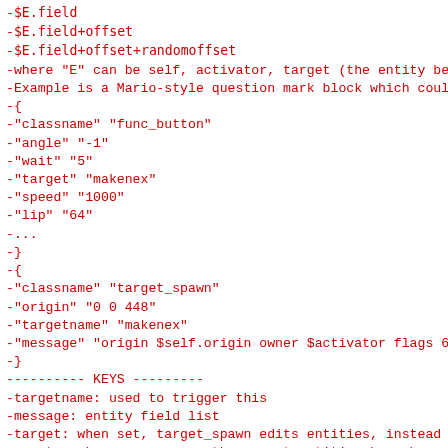-$E.field
-$E.field+offset
-$E.field+offset+randomoffset
-where "E" can be self, activator, target (the entity being
-Example is a Mario-style question mark block which could th
-{
-"classname" "func_button"
-"angle" "-1"
-"wait" "5"
-"target" "makenex"
-"speed" "1000"
-"lip" "64"
-...
-}
-{
-"classname" "target_spawn"
-"origin" "0 0 448"
-"targetname" "makenex"
-"message" "origin $self.origin owner $activator flags 65536
-}
---------- KEYS ---------
-targetname: used to trigger this
-message: entity field list
-target: when set, target_spawn edits entities, instead of c
-count: make sure no more than count entities have been crea
-killtarget: reference entity (can be used as $killtarget)
-target2: reference entity (can be used as $target2)
-target3: reference entity (can be used as $target3)
-target4: reference entity (can be used as $target4)
---------- SPAWNFLAGS ---------
-ONLOAD: create a first entity on map load
-*/